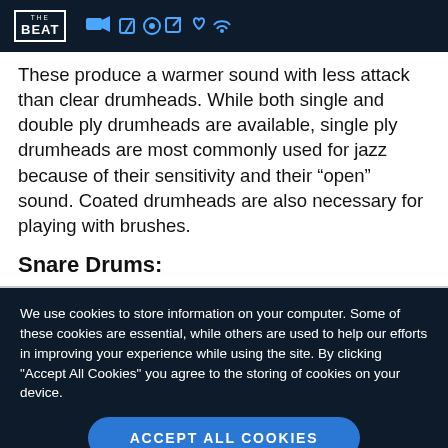THE BEAT [navigation bar with icons]
These produce a warmer sound with less attack than clear drumheads. While both single and double ply drumheads are available, single ply drumheads are most commonly used for jazz because of their sensitivity and their “open” sound. Coated drumheads are also necessary for playing with brushes.
Snare Drums:
We use cookies to store information on your computer. Some of these cookies are essential, while others are used to help our efforts in improving your experience while using the site. By clicking "Accept All Cookies" you agree to the storing of cookies on your device.
ACCEPT ALL COOKIES
Cookie Policy